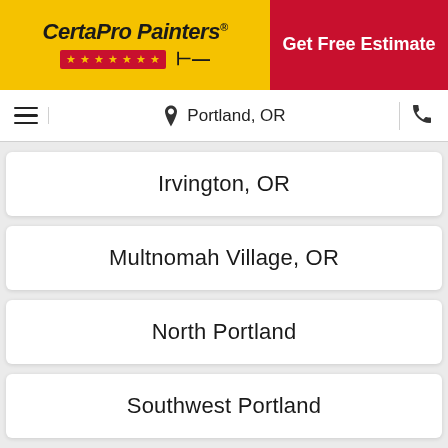[Figure (logo): CertaPro Painters logo with yellow background, red stars bar and paint brush icon]
Get Free Estimate
Portland, OR
Irvington, OR
Multnomah Village, OR
North Portland
Southwest Portland